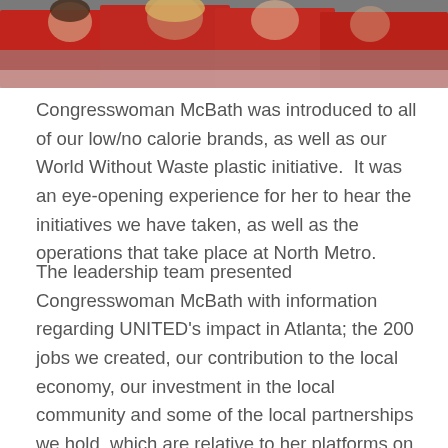[Figure (photo): People in red shirts/clothing gathered together, partially visible at the top of the page]
Congresswoman McBath was introduced to all of our low/no calorie brands, as well as our World Without Waste plastic initiative.  It was an eye-opening experience for her to hear the initiatives we have taken, as well as the operations that take place at North Metro.
The leadership team presented Congresswoman McBath with information regarding UNITED's impact in Atlanta; the 200 jobs we created, our contribution to the local economy, our investment in the local community and some of the local partnerships we hold, which are relative to her platforms on jobs, the economy and the environment.  We wish Congresswoman McBath a productive term in office!